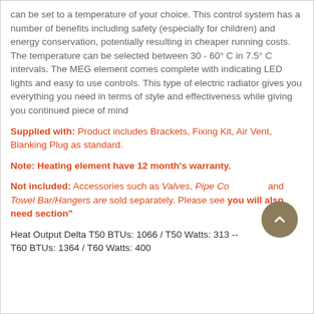can be set to a temperature of your choice. This control system has a number of benefits including safety (especially for children) and energy conservation, potentially resulting in cheaper running costs. The temperature can be selected between 30 - 60° C in 7.5° C intervals. The MEG element comes complete with indicating LED lights and easy to use controls. This type of electric radiator gives you everything you need in terms of style and effectiveness while giving you continued piece of mind
Supplied with: Product includes Brackets, Fixing Kit, Air Vent, Blanking Plug as standard.
Note: Heating element have 12 month's warranty.
Not included: Accessories such as Valves, Pipe Connectors and Towel Bar/Hangers are sold separately. Please see "you will also need section"
Heat Output Delta T50 BTUs: 1066 / T50 Watts: 313 -- T60 BTUs: 1364 / T60 Watts: 400